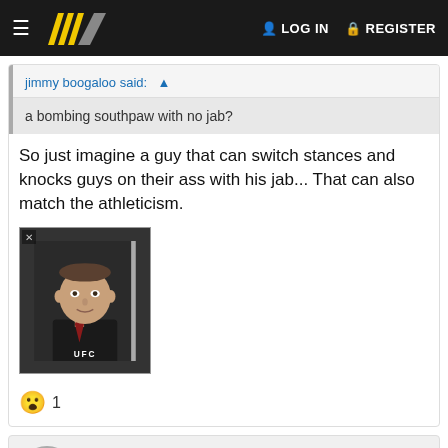≡  [logo]  LOG IN  REGISTER
jimmy boogaloo said: ↑
a bombing southpaw with no jab?
So just imagine a guy that can switch stances and knocks guys on their ass with his jab... That can also match the athleticism.
[Figure (photo): A man in a suit and tie at what appears to be a UFC press event, with a UFC logo visible in the lower portion of the image.]
😮 1
jimmy boogaloo
General Links/Your Account